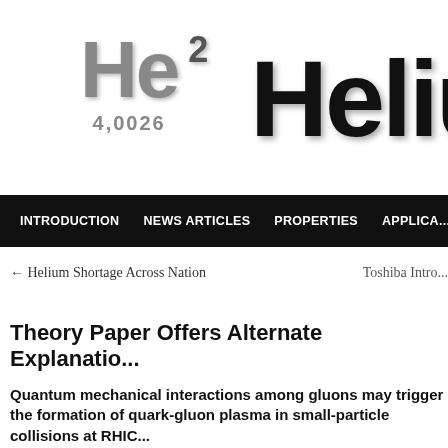[Figure (logo): Helium element logo showing periodic table tile with He, atomic number 2, mass 4.0026, and the word 'Helium' in large bold text]
INTRODUCTION   NEWS ARTICLES   PROPERTIES   APPLICA...
← Helium Shortage Across Nation
Toshiba Intro...
Theory Paper Offers Alternate Explanatio...
Quantum mechanical interactions among gluons may trigger the formation of quark-gluon plasma in small-particle collisions at RHIC...